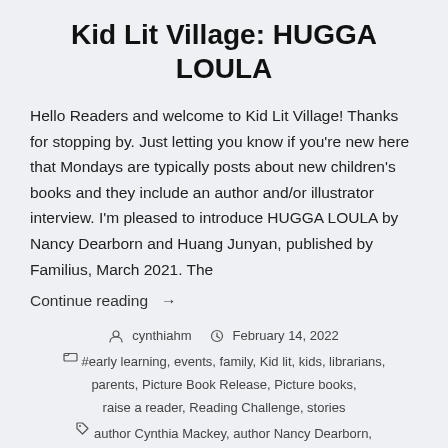Kid Lit Village: HUGGA LOULA
Hello Readers and welcome to Kid Lit Village! Thanks for stopping by. Just letting you know if you're new here that Mondays are typically posts about new children's books and they include an author and/or illustrator interview. I'm pleased to introduce HUGGA LOULA by Nancy Dearborn and Huang Junyan, published by Familius, March 2021. The
Continue reading →
cynthiahm  February 14, 2022  #early learning, events, family, Kid lit, kids, librarians, parents, Picture Book Release, Picture books, raise a reader, Reading Challenge, stories  author Cynthia Mackey, author Nancy Dearborn,